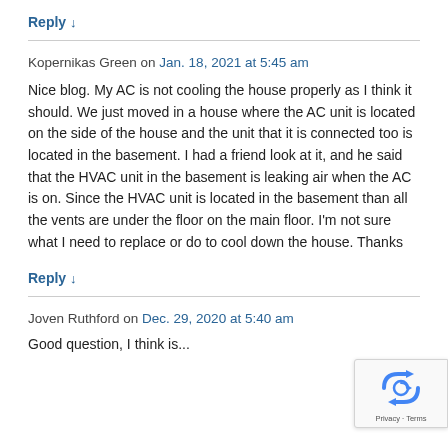Reply ↓
Kopernikas Green on Jan. 18, 2021 at 5:45 am
Nice blog. My AC is not cooling the house properly as I think it should. We just moved in a house where the AC unit is located on the side of the house and the unit that it is connected too is located in the basement. I had a friend look at it, and he said that the HVAC unit in the basement is leaking air when the AC is on. Since the HVAC unit is located in the basement than all the vents are under the floor on the main floor. I'm not sure what I need to replace or do to cool down the house. Thanks
Reply ↓
Joven Ruthford on Dec. 29, 2020 at 5:40 am
Good question, I think is...